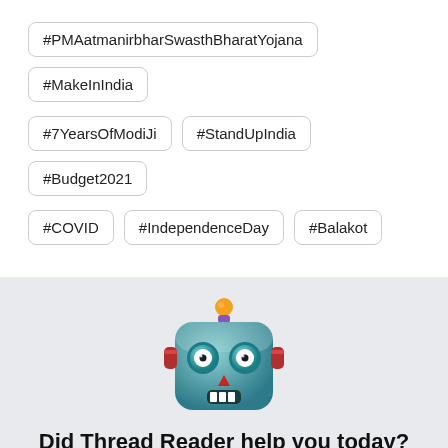#PMAatmanirbharSwasthBharatYojana
#MakeInIndia
#7YearsOfModiJi
#StandUpIndia
#Budget2021
#COVID
#IndependenceDay
#Balakot
[Figure (illustration): Robot emoji / Thread Reader app mascot robot face icon]
Did Thread Reader help you today?
Support us! We are indie developers!